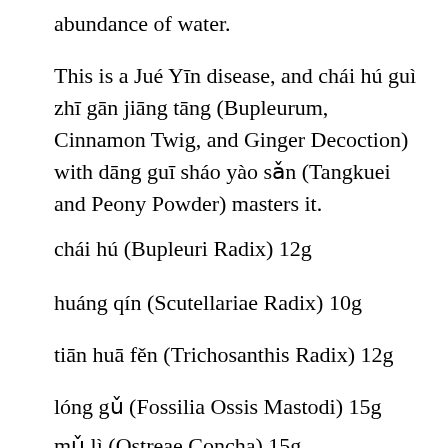abundance of water.
This is a Jué Yīn disease, and chái hú guì zhī gān jiāng tāng (Bupleurum, Cinnamon Twig, and Ginger Decoction) with dāng guī sháo yào sǎn (Tangkuei and Peony Powder) masters it.
chái hú (Bupleuri Radix) 12g
huáng qín (Scutellariae Radix) 10g
tiān huā fěn (Trichosanthis Radix) 12g
lóng gǔ (Fossilia Ossis Mastodi) 15g
mǔ lì (Ostreae Concha) 15g